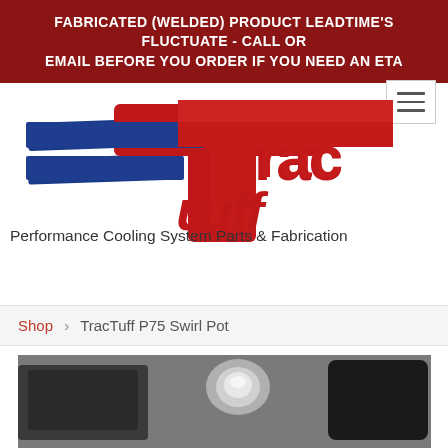FABRICATED (WELDED) PRODUCT LEADTIME'S FLUCTUATE - CALL OR EMAIL BEFORE YOU ORDER IF YOU NEED AN ETA
[Figure (logo): TracTuff logo with red stylized text 'TracTuff' and blue horizontal bars forming a stylized T, with tagline 'Performance Cooling System Parts & Fabrication']
Shop › TracTuff P75 Swirl Pot
[Figure (photo): Partial product photo of TracTuff P75 Swirl Pot showing metal automotive cooling system component]